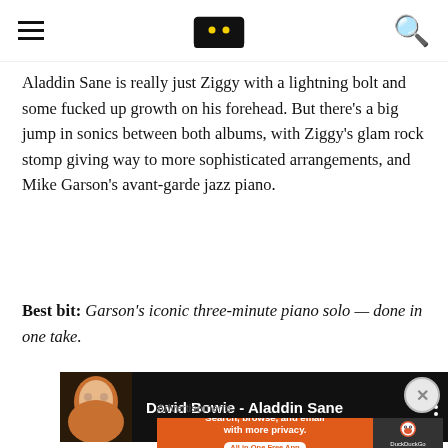Aladdin Sane is really just Ziggy with a lightning bolt and some fucked up growth on his forehead. But there's a big jump in sonics between both albums, with Ziggy's glam rock stomp giving way to more sophisticated arrangements, and Mike Garson's avant-garde jazz piano.
Best bit: Garson's iconic three-minute piano solo — done in one take.
[Figure (screenshot): YouTube video embed showing 'David Bowie - Aladdin Sane' with thumbnail of person's face on dark background and three-dot menu icon]
Advertisements
[Figure (infographic): DuckDuckGo advertisement banner: 'Search, browse, and email with more privacy. All in One Free App' on orange background with DuckDuckGo logo]